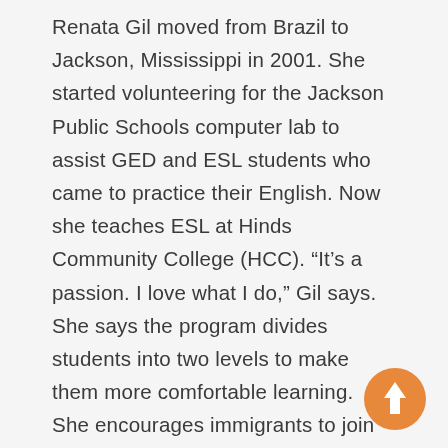Renata Gil moved from Brazil to Jackson, Mississippi in 2001. She started volunteering for the Jackson Public Schools computer lab to assist GED and ESL students who came to practice their English. Now she teaches ESL at Hinds Community College (HCC). “It’s a passion. I love what I do,” Gil says. She says the program divides students into two levels to make them more comfortable learning. She encourages immigrants to join the program. “We welcome everybody. It’s imperative for [them] to communicate. Mainly what I focus on is listening and speaking because they have to be ready to go grocery shopping, communicate with their kids’ teachers. It’s just so important in real life,”
[Figure (other): Orange circular scroll-to-top button with white upward arrow]